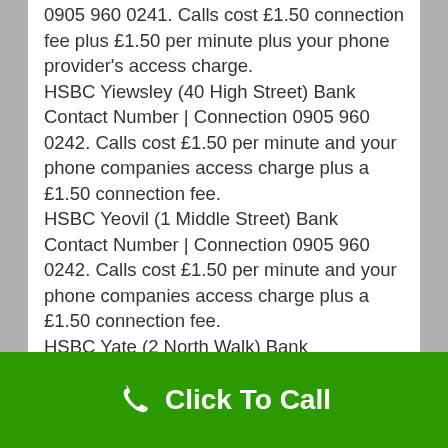0905 960 0241. Calls cost £1.50 connection fee plus £1.50 per minute plus your phone provider's access charge. HSBC Yiewsley (40 High Street) Bank Contact Number | Connection 0905 960 0242. Calls cost £1.50 per minute and your phone companies access charge plus a £1.50 connection fee. HSBC Yeovil (1 Middle Street) Bank Contact Number | Connection 0905 960 0242. Calls cost £1.50 per minute and your phone companies access charge plus a £1.50 connection fee. HSBC Yate (2 North Walk) Bank Contact|Connection 0905 960 0242. Calls cost £1.50 per minute and your phone companies access charge plus a £1.50 connection fee.
[Figure (other): Green bar with phone icon and 'Click To Call' text]